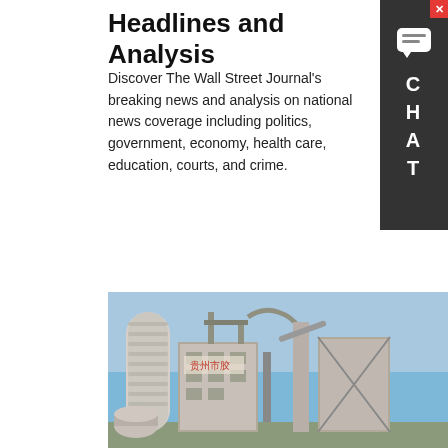Headlines and Analysis
Discover The Wall Street Journal's breaking news and analysis on national news coverage including politics, government, economy, health care, education, courts, and crime.
LEARN MORE
[Figure (screenshot): Chat widget sidebar with message icon, close button (red X), and letters C H A T stacked vertically on dark background]
[Figure (photo): Industrial facility with tall cylindrical silo/chimney, metal scaffolding structures, conveyor belts, and Chinese characters on building, photographed against blue sky]
Hey, we are live 24/7. How may I help you?